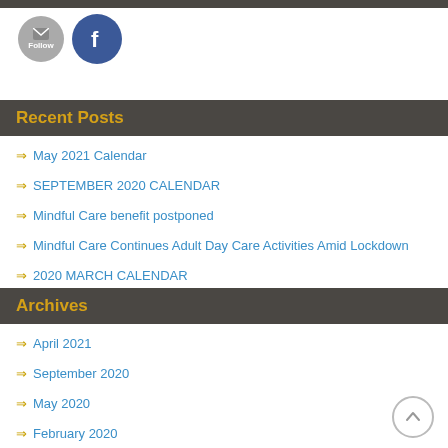[Figure (illustration): Social media icons: a gray circular Follow button with envelope icon and a Facebook circular icon]
Recent Posts
May 2021 Calendar
SEPTEMBER 2020 CALENDAR
Mindful Care benefit postponed
Mindful Care Continues Adult Day Care Activities Amid Lockdown
2020 MARCH CALENDAR
Archives
April 2021
September 2020
May 2020
February 2020
January 2020